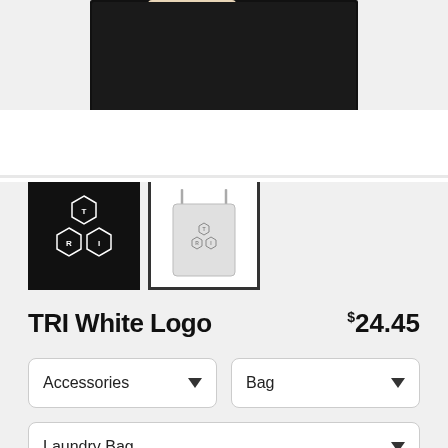[Figure (photo): Product thumbnail image showing black bag with TRI White Logo, cropped at top of page]
[Figure (photo): Small thumbnail 1: Black square with TRI logo (three hexagons with T, R, I letters)]
[Figure (photo): Small thumbnail 2: Selected thumbnail showing white drawstring laundry bag with logo]
TRI White Logo
$24.45
Accessories
Bag
Laundry Bag
$24.45
18" x 32"
$34.95
28" x 36"